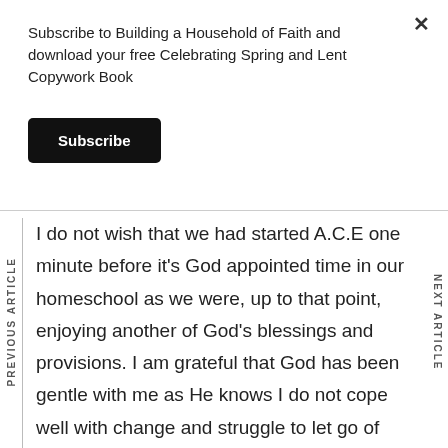Subscribe to Building a Household of Faith and download your free Celebrating Spring and Lent Copywork Book
Subscribe
PREVIOUS ARTICLE
NEXT ARTICLE
I do not wish that we had started A.C.E one minute before it's God appointed time in our homeschool as we were, up to that point, enjoying another of God's blessings and provisions. I am grateful that God has been gentle with me as He knows I do not cope well with change and struggle to let go of systems and things that feel quite nice and cosy for me. I am grateful and thrilled to see that God leads us